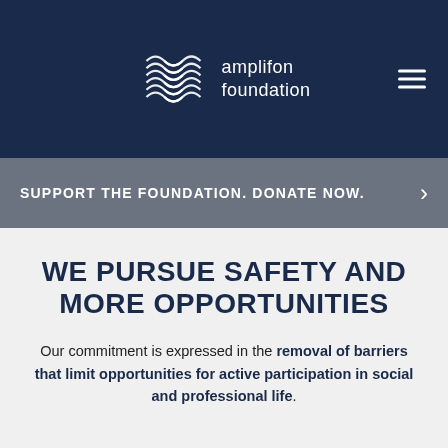[Figure (logo): Amplifon Foundation logo with wave/infinity pattern and text 'amplifon foundation' in white on dark navy background, with hamburger menu icon in top right]
SUPPORT THE FOUNDATION. DONATE NOW.
WE PURSUE SAFETY AND MORE OPPORTUNITIES
Our commitment is expressed in the removal of barriers that limit opportunities for active participation in social and professional life.